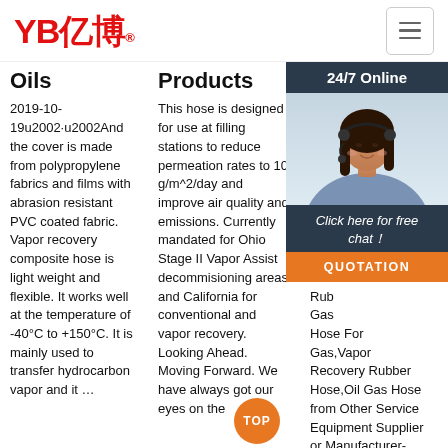YB亿博® [navigation logo and hamburger menu]
Oils
2019-10-19u2002·u2002And the cover is made from polypropylene fabrics and films with abrasion resistant PVC coated fabric. Vapor recovery composite hose is light weight and flexible. It works well at the temperature of -40°C to +150°C. It is mainly used to transfer hydrocarbon vapor and it …
Products
This hose is designed for use at filling stations to reduce permeation rates to 10 g/m^2/day and improve air quality and emissions. Currently mandated for Ohio Stage II Vapor Assist decommisioning areas and California for conventional and vapor recovery. Looking Ahead. Moving Forward. We have always got our eyes on the
Flexible ...
Aist Vapor Rubber Flexible Hose Find Det Mac Recovery Hose Rubber Gas Hose For Gas,Vapor Recovery Rubber Hose,Oil Gas Hose from Other Service Equipment Supplier or Manufacturer-
[Figure (photo): Chat support widget with photo of female customer service agent wearing headset, '24/7 Online' header, 'Click here for free chat!' text, and orange QUOTATION button]